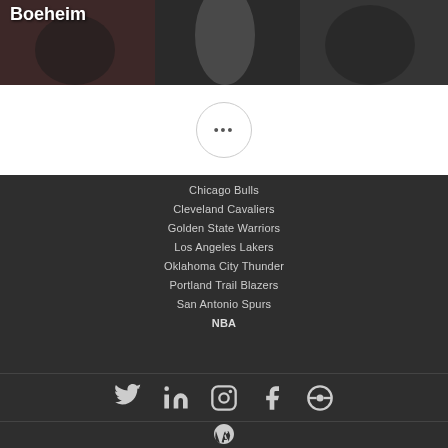[Figure (photo): Photo of basketball players with text overlay reading 'Boeheim' in white bold font on dark background]
...
Chicago Bulls
Cleveland Cavaliers
Golden State Warriors
Los Angeles Lakers
Oklahoma City Thunder
Portland Trail Blazers
San Antonio Spurs
NBA
[Figure (logo): Social media icons: Twitter, LinkedIn, Instagram, Facebook, and a custom icon]
[Figure (logo): WordPress logo icon]